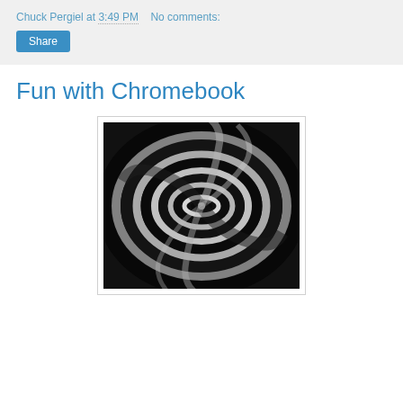Chuck Pergiel at 3:49 PM   No comments:
Share
Fun with Chromebook
[Figure (photo): Black and white swirling spiral/vortex image with concentric rotating bands converging to a bright center point]